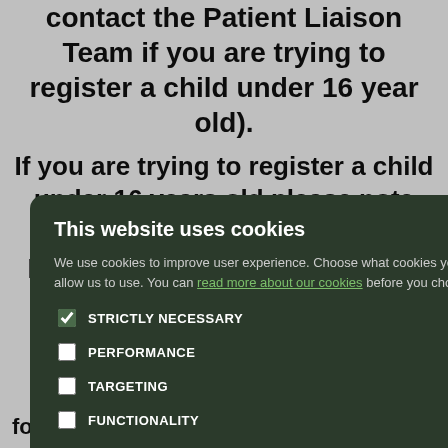contact the Patient Liaison Team if you are trying to register a child under 16 year old).
If you are trying to register a child under 16 years old please note that a parent must be permanently registered with the Practice for the Practice to accept your application..
[Figure (screenshot): Cookie consent modal dialog on a dark green background. Title: 'This website uses cookies'. Body text: 'We use cookies to improve user experience. Choose what cookies you allow us to use. You can read more about our cookies before you choose.' Checkboxes: STRICTLY NECESSARY (checked), PERFORMANCE, TARGETING, FUNCTIONALITY. Two buttons: ACCEPT ALL (green filled), DECLINE ALL (outline).]
ere to Online
following: